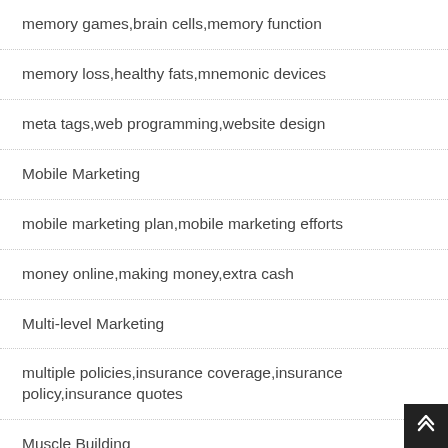memory games,brain cells,memory function
memory loss,healthy fats,mnemonic devices
meta tags,web programming,website design
Mobile Marketing
mobile marketing plan,mobile marketing efforts
money online,making money,extra cash
Multi-level Marketing
multiple policies,insurance coverage,insurance policy,insurance quotes
Muscle Building
Music Downloads